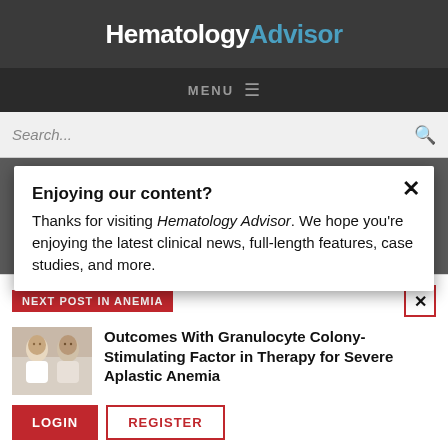HematologyAdvisor
MENU
Search...
Enjoying our content?
Thanks for visiting Hematology Advisor. We hope you're enjoying the latest clinical news, full-length features, case studies, and more.
NEXT POST IN ANEMIA
Outcomes With Granulocyte Colony-Stimulating Factor in Therapy for Severe Aplastic Anemia
LOGIN   REGISTER